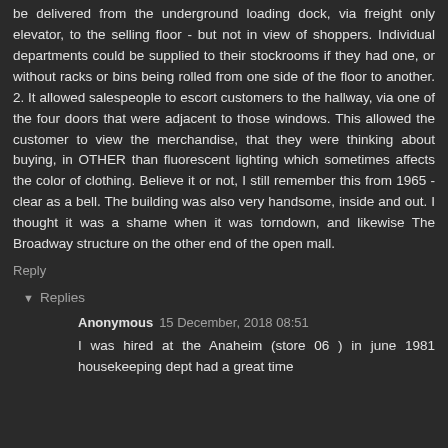be delivered from the underground loading dock, via freight only elevator, to the selling floor - but not in view of shoppers. Individual departments could be supplied to their stockrooms if they had one, or without racks or bins being rolled from one side of the floor to another. 2. It allowed salespeople to escort customers to the hallway, via one of the four doors that were adjacent to those windows. This allowed the customer to view the merchandise, that they were thinking about buying, in OTHER than fluorescent lighting which sometimes affects the color of clothing. Believe it or not, I still remember this from 1965 - clear as a bell. The building was also very handsome, inside and out. I thought it was a shame when it was torndown, and likewise The Broadway structure on the other end of the open mall.
Reply
Replies
Anonymous 15 December, 2018 08:51
I was hired at the Anaheim (store 06 ) in june 1981 housekeeping dept had a great time